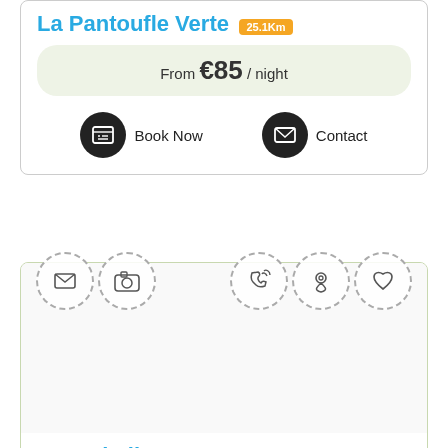La Pantoufle Verte 25.1Km
From €85 / night
Book Now   Contact
[Figure (infographic): Top icons row for second card: envelope, camera, phone, location pin, heart — dashed circle outlines]
La Re'belle 32.2Km
From €50 / night
Book Now   Contact